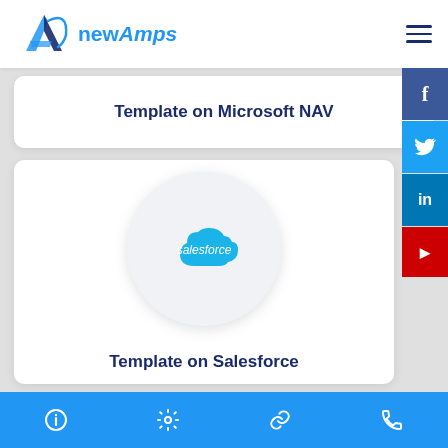[Figure (logo): newAmps logo with stylized A icon and blue text]
Template on Microsoft NAV
[Figure (logo): Salesforce cloud logo on circular white/grey background]
Template on Salesforce